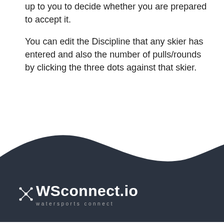up to you to decide whether you are prepared to accept it.
You can edit the Discipline that any skier has entered and also the number of pulls/rounds by clicking the three dots against that skier.
[Figure (illustration): Dark navy wave-shaped footer banner with WSconnect.io logo (watersports connect) in white text on the left side]